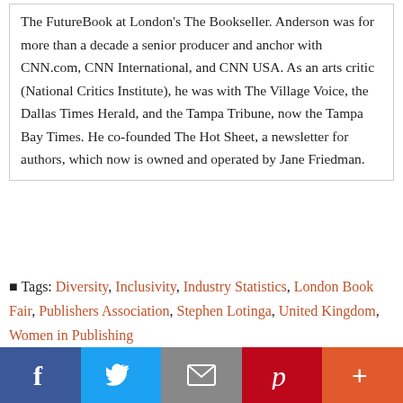The FutureBook at London's The Bookseller. Anderson was for more than a decade a senior producer and anchor with CNN.com, CNN International, and CNN USA. As an arts critic (National Critics Institute), he was with The Village Voice, the Dallas Times Herald, and the Tampa Tribune, now the Tampa Bay Times. He co-founded The Hot Sheet, a newsletter for authors, which now is owned and operated by Jane Friedman.
Tags: Diversity, Inclusivity, Industry Statistics, London Book Fair, Publishers Association, Stephen Lotinga, United Kingdom, Women in Publishing